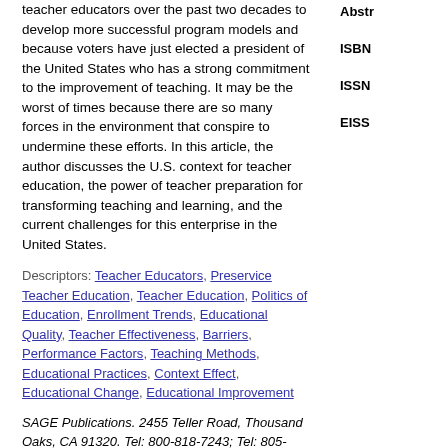teacher educators over the past two decades to develop more successful program models and because voters have just elected a president of the United States who has a strong commitment to the improvement of teaching. It may be the worst of times because there are so many forces in the environment that conspire to undermine these efforts. In this article, the author discusses the U.S. context for teacher education, the power of teacher preparation for transforming teaching and learning, and the current challenges for this enterprise in the United States.
Descriptors: Teacher Educators, Preservice Teacher Education, Teacher Education, Politics of Education, Enrollment Trends, Educational Quality, Teacher Effectiveness, Barriers, Performance Factors, Teaching Methods, Educational Practices, Context Effect, Educational Change, Educational Improvement
SAGE Publications. 2455 Teller Road, Thousand Oaks, CA 91320. Tel: 800-818-7243; Tel: 805-499-9774; Fax: 800-583-2665; e-mail: journals@sagepub.com; Web site: http://sagepub.com
Abstr
ISBN
ISSN
EISS